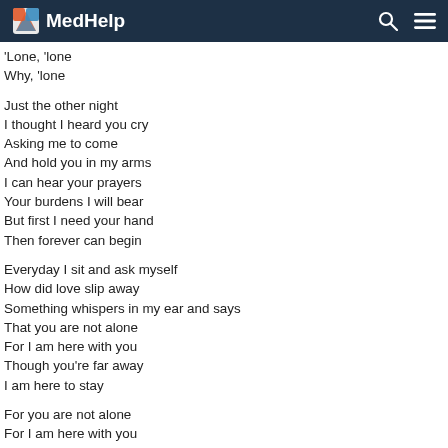MedHelp
'Lone, 'lone
Why, 'lone

Just the other night
I thought I heard you cry
Asking me to come
And hold you in my arms
I can hear your prayers
Your burdens I will bear
But first I need your hand
Then forever can begin

Everyday I sit and ask myself
How did love slip away
Something whispers in my ear and says
That you are not alone
For I am here with you
Though you're far away
I am here to stay

For you are not alone
For I am here with you
Though we're far apart
You're always in my heart
For you are not alone